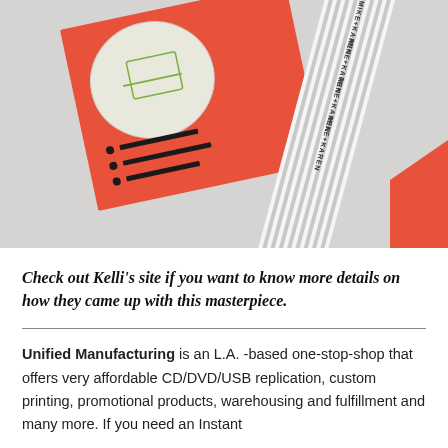[Figure (photo): Photo of orange/coral printed cards and a striped folded item on a light gray surface. One card shows a circular illustration and printed text with numbered instructions. A striped accordion-folded item in the upper right reads 'MIKE+KAREN' repeatedly.]
Check out Kelli's site if you want to know more details on how they came up with this masterpiece.
Unified Manufacturing is an L.A. -based one-stop-shop that offers very affordable CD/DVD/USB replication, custom printing, promotional products, warehousing and fulfillment and many more. If you need an Instant